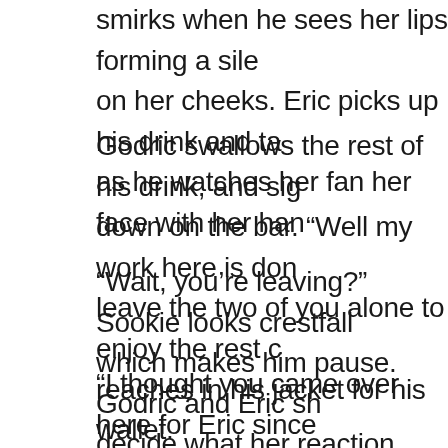smirks when he sees her lips forming a sile on her cheeks. Eric picks up his drink and ta as he watches her fan her face with her han
Godric swallows the rest of his drink, and sig down on the bar. “Well my work here is don leave the two of you alone to enjoy the rest c reaches in his jacket for his wallet.
“Wait, you’re leaving?” Sookie looks crestfall which makes him pause. Godric and Eric sh decide what her reaction means.
“I thought you came over here for Eric since flirted back and forth across the restaurant. way,” Godric says slowly.
Sookie blushes since his words make her lo floozy, but given the thoughts that are goin